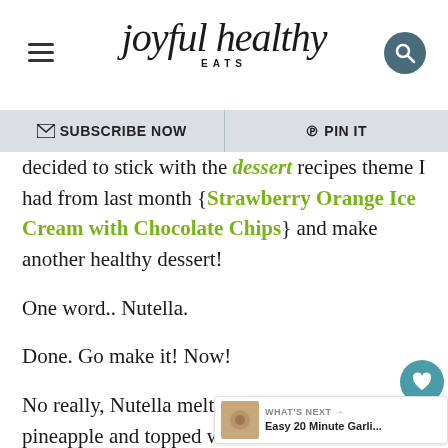joyful healthy EATS
✉ SUBSCRIBE NOW   ℗ PIN IT
decided to stick with the dessert recipes theme I had from last month {Strawberry Orange Ice Cream with Chocolate Chips} and make another healthy dessert!
One word.. Nutella.
Done. Go make it! Now!
No really, Nutella melting over grilled sweet fresh pineapple and topped with t macadamia nuts. Absolutely amazing and count em' 3 ingredients!